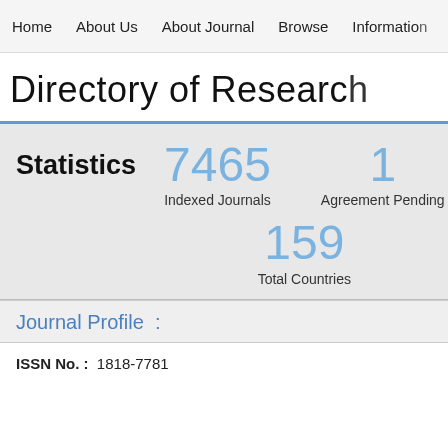Home   About Us   About Journal   Browse   Information
Directory of Research
Statistics
7465 Indexed Journals
1 Agreement Pending
159 Total Countries
Journal Profile :
ISSN No. :  1818-7781